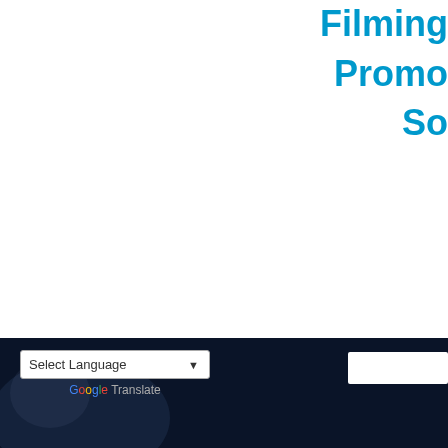Filming
Promo
So
Share the love:
Twitter | Facebook | Tumblr | Email
Like
Be the first to like this.
Select Language
Google Translate